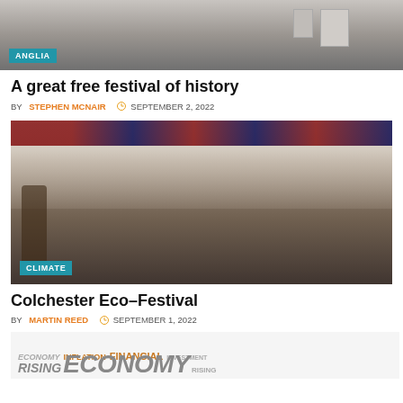[Figure (photo): Partial top image of a building with an ANGLIA category badge in the lower left corner.]
A great free festival of history
BY STEPHEN MCNAIR  SEPTEMBER 2, 2022
[Figure (photo): A crowd of children and adults seated under a large festival tent watching a performer in an orange shirt. A CLIMATE badge is in the lower left corner.]
Colchester Eco-Festival
BY MARTIN REED  SEPTEMBER 1, 2022
[Figure (photo): Partial bottom image showing words: RISING, INFLATION, FINANCIAL, ECONOMY in large mixed typography suggesting an economy/cost of living article.]